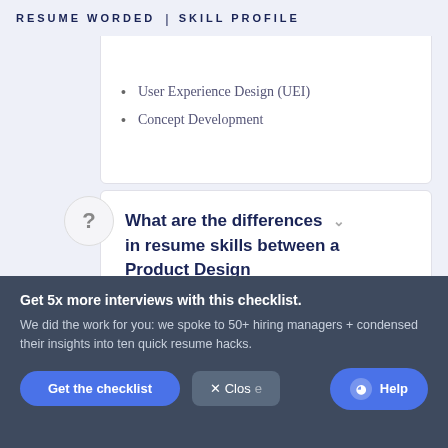RESUME WORDED | SKILL PROFILE
User Experience Design (UEI)
Concept Development
What are the differences in resume skills between a Product Design Consultant and an Instructional Design Consultant?
Get 5x more interviews with this checklist.
We did the work for you: we spoke to 50+ hiring managers + condensed their insights into ten quick resume hacks.